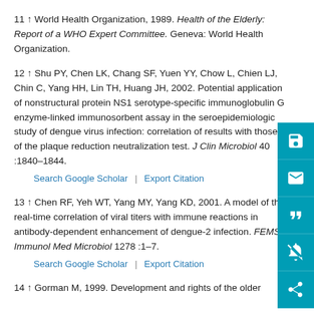11 ↑ World Health Organization, 1989. Health of the Elderly: Report of a WHO Expert Committee. Geneva: World Health Organization.
12 ↑ Shu PY, Chen LK, Chang SF, Yuen YY, Chow L, Chien LJ, Chin C, Yang HH, Lin TH, Huang JH, 2002. Potential application of nonstructural protein NS1 serotype-specific immunoglobulin G enzyme-linked immunosorbent assay in the seroepidemiologic study of dengue virus infection: correlation of results with those of the plaque reduction neutralization test. J Clin Microbiol 40 :1840–1844.
13 ↑ Chen RF, Yeh WT, Yang MY, Yang KD, 2001. A model of the real-time correlation of viral titers with immune reactions in antibody-dependent enhancement of dengue-2 infection. FEMS Immunol Med Microbiol 1278 :1–7.
14 ↑ Gorman M, 1999. Development and rights of the older